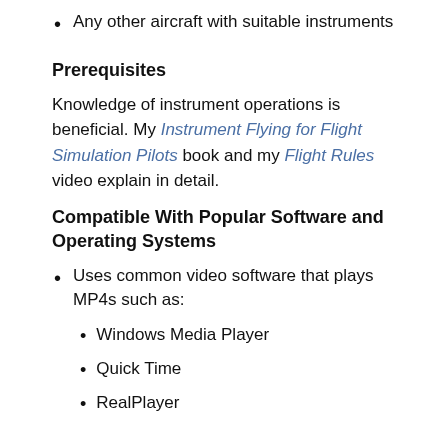Any other aircraft with suitable instruments
Prerequisites
Knowledge of instrument operations is beneficial. My Instrument Flying for Flight Simulation Pilots book and my Flight Rules video explain in detail.
Compatible With Popular Software and Operating Systems
Uses common video software that plays MP4s such as:
Windows Media Player
Quick Time
RealPlayer